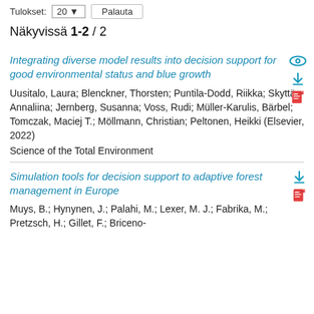Tulokset: 20 ▼  Palauta
Näkyvissä 1-2 / 2
Integrating diverse model results into decision support for good environmental status and blue growth
Uusitalo, Laura; Blenckner, Thorsten; Puntila-Dodd, Riikka; Skyttä, Annaliina; Jernberg, Susanna; Voss, Rudi; Müller-Karulis, Bärbel; Tomczak, Maciej T.; Möllmann, Christian; Peltonen, Heikki (Elsevier, 2022)
Science of the Total Environment
Simulation tools for decision support to adaptive forest management in Europe
Muys, B.; Hynynen, J.; Palahi, M.; Lexer, M. J.; Fabrika, M.; Pretzsch, H.; Gillet, F.; Briceno-Elizabeth, Thomas, Nelson, S.; Kilpatrick (2010)